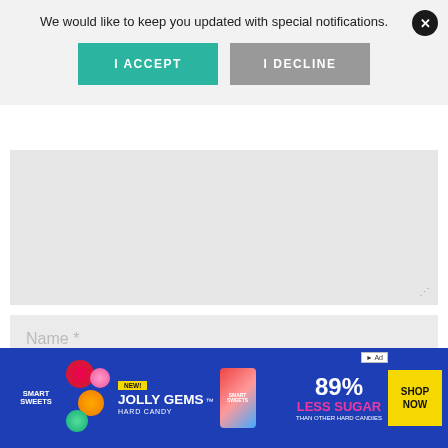We would like to keep you updated with special notifications.
[Figure (screenshot): Cookie/notification consent banner with 'I ACCEPT' (teal) and 'I DECLINE' (gray) buttons, and a close X button]
[Figure (screenshot): Comment form with textarea, Name field, Email field, and URL field with dropdown chevron]
[Figure (screenshot): Advertisement banner: Smart Sweets - NEW! Jolly Gems Hard Candy - 89% Less Sugar Than Other Hard Candies - SHOP NOW]